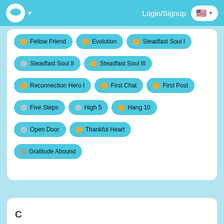Login/Signup
Fellow Friend
Evolution
Steadfast Soul I
Steadfast Soul II
Steadfast Soul III
Reconnection Hero I
First Chat
First Post
Five Steps
High 5
Hang 10
Open Door
Thankful Heart
Gratitude Abound